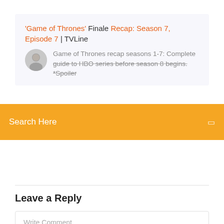'Game of Thrones' Finale Recap: Season 7, Episode 7 | TVLine
Game of Thrones recap seasons 1-7: Complete guide to HBO series before season 8 begins. *Spoiler
Search Here
Leave a Reply
Write Comment